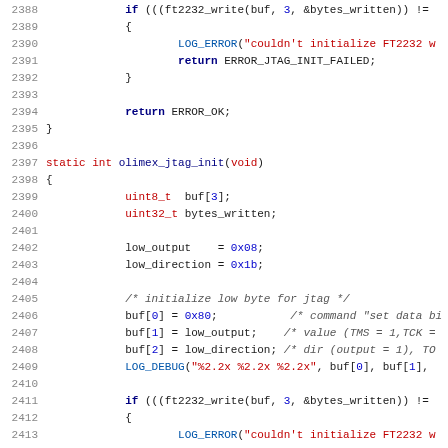[Figure (screenshot): Source code listing in C showing lines 2388-2419 of a file. The code shows an if-block checking ft2232_write return value, a return ERROR_OK statement, closing brace, then a static int olimex_jtag_init(void) function definition with variable declarations (uint8_t buf[3], uint32_t bytes_written), assignments (low_output=0x08, low_direction=0x1b), buffer initialization for JTAG with comments, LOG_DEBUG call, another if-block for ft2232_write error checking, and nTRST/nTRSTnOE/nSRST assignments.]